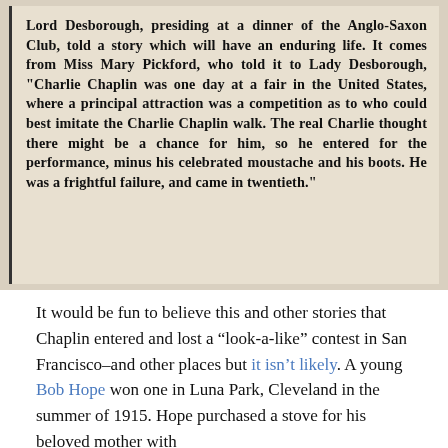[Figure (photo): Newspaper clipping with bold serif text describing a story about Lord Desborough at a dinner of the Anglo-Saxon Club, telling a story from Miss Mary Pickford about Charlie Chaplin entering a Charlie Chaplin walk imitation contest at a fair in the United States, minus his moustache and boots, and coming in twentieth place.]
It would be fun to believe this and other stories that Chaplin entered and lost a "look-a-like" contest in San Francisco–and other places but it isn't likely. A young Bob Hope won one in Luna Park, Cleveland in the summer of 1915. Hope purchased a stove for his beloved mother with